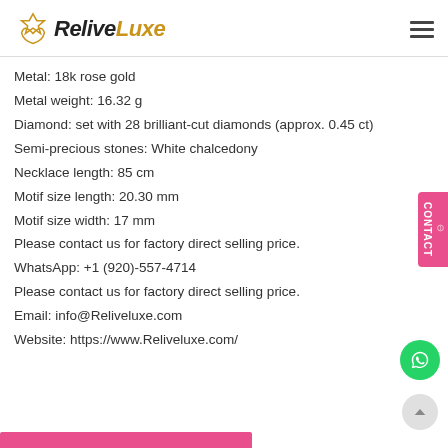ReliveLuxe
Metal: 18k rose gold
Metal weight: 16.32 g
Diamond: set with 28 brilliant-cut diamonds (approx. 0.45 ct)
Semi-precious stones: White chalcedony
Necklace length: 85 cm
Motif size length: 20.30 mm
Motif size width: 17 mm
Please contact us for factory direct selling price.
WhatsApp: +1 (920)-557-4714
Please contact us for factory direct selling price.
Email: info@Reliveluxe.com
Website: https://www.Reliveluxe.com/